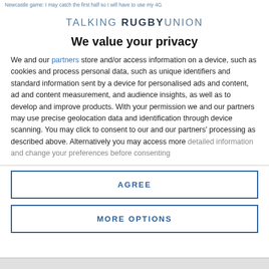Newcastle game: I may catch the first half so I will have to use my 4G
[Figure (logo): Talking Rugby Union logo — wordmark with TALKING in light blue, RUGBY in dark bold, UNION in light blue, all caps spaced lettering]
We value your privacy
We and our partners store and/or access information on a device, such as cookies and process personal data, such as unique identifiers and standard information sent by a device for personalised ads and content, ad and content measurement, and audience insights, as well as to develop and improve products. With your permission we and our partners may use precise geolocation data and identification through device scanning. You may click to consent to our and our partners' processing as described above. Alternatively you may access more detailed information and change your preferences before consenting
AGREE
MORE OPTIONS